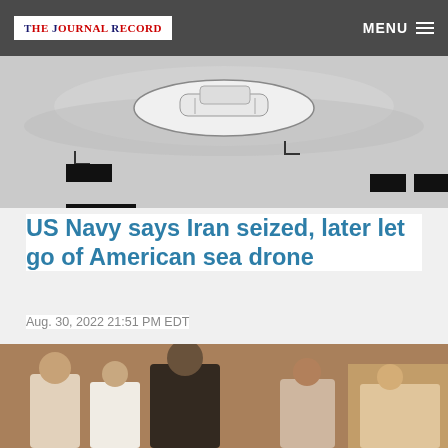THE JOURNAL RECORD | MENU
[Figure (photo): Aerial surveillance photo of a sea drone vessel on water, with black redacted/censored rectangles overlaid on various parts of the image]
US Navy says Iran seized, later let go of American sea drone
Aug. 30, 2022 21:51 PM EDT
[Figure (photo): Group of men walking together, several wearing religious clerical attire including white and black garments, in what appears to be an indoor setting]